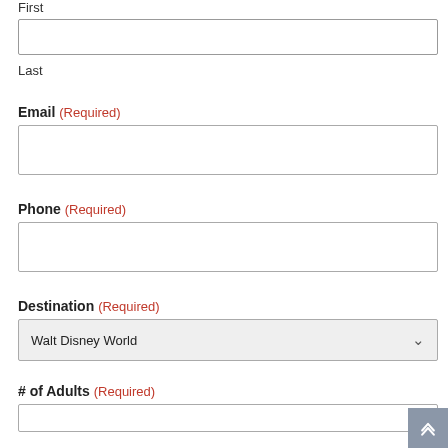First
Last
Email (Required)
Phone (Required)
Destination (Required)
Walt Disney World
# of Adults (Required)